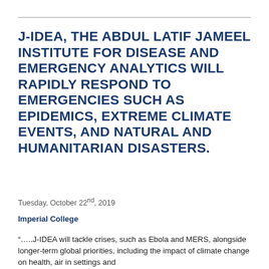J-IDEA, THE ABDUL LATIF JAMEEL INSTITUTE FOR DISEASE AND EMERGENCY ANALYTICS WILL RAPIDLY RESPOND TO EMERGENCIES SUCH AS EPIDEMICS, EXTREME CLIMATE EVENTS, AND NATURAL AND HUMANITARIAN DISASTERS.
Tuesday, October 22nd, 2019
Imperial College
“…..J-IDEA will tackle crises, such as Ebola and MERS, alongside longer-term global priorities, including the impact of climate change on health, air in settings and